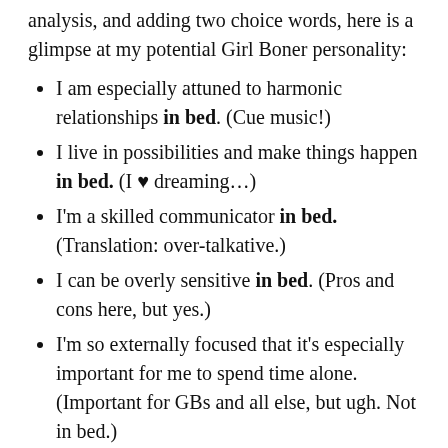analysis, and adding two choice words, here is a glimpse at my potential Girl Boner personality:
I am especially attuned to harmonic relationships in bed. (Cue music!)
I live in possibilities and make things happen in bed. (I ♥ dreaming…)
I'm a skilled communicator in bed. (Translation: over-talkative.)
I can be overly sensitive in bed. (Pros and cons here, but yes.)
I'm so externally focused that it's especially important for me to spend time alone. (Important for GBs and all else, but ugh. Not in bed.)
I may also have the tendency to be hard on myself and turn to dark thoughts when alone.